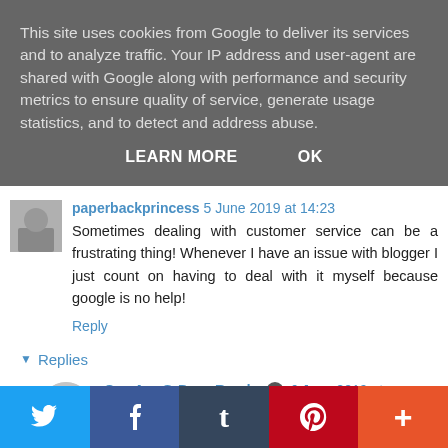This site uses cookies from Google to deliver its services and to analyze traffic. Your IP address and user-agent are shared with Google along with performance and security metrics to ensure quality of service, generate usage statistics, and to detect and address abuse.
LEARN MORE   OK
paperbackprincess 5 June 2019 at 14:23
Sometimes dealing with customer service can be a frustrating thing! Whenever I have an issue with blogger I just count on having to deal with it myself because google is no help!
Reply
Replies
Cee Arr @ Dora Reads 6 June 2019 at 12:06